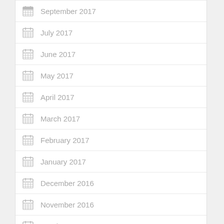September 2017
July 2017
June 2017
May 2017
April 2017
March 2017
February 2017
January 2017
December 2016
November 2016
October 2016
September 2016